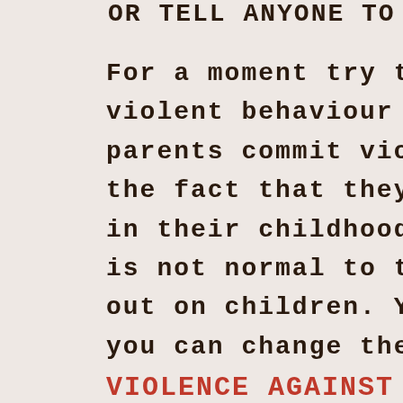OR TELL ANYONE TO WHO...
For a moment try t... violent behaviour caus... parents commit viole... the fact that they we... in their childhood. Pe... is not normal to ta... out on children. You n... you can change the...
VIOLENCE AGAINST C...